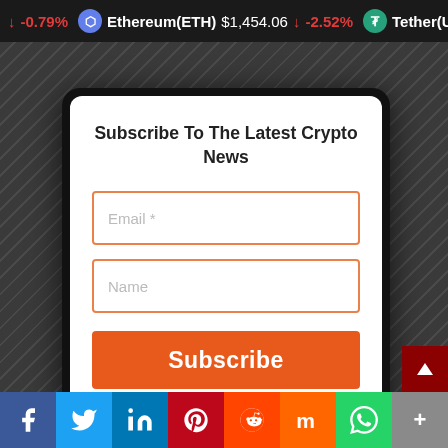0 ↓ -0.79%  Ethereum(ETH)  $1,454.06  ↓ -2.52%  Tether(USD
Comment
Subscribe To The Latest Crypto News
Email *
Name
Subscribe
Name
Website